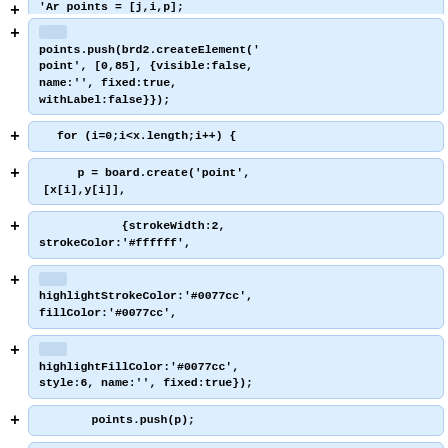+ 'Ar points = [j,i,p];
+ points.push(brd2.createElement('point', [0,85], {visible:false, name:'', fixed:true, withLabel:false}});
+ for (i=0;i<x.length;i++) {
+ p = board.create('point', [x[i],y[i]],
+ {strokeWidth:2, strokeColor:'#ffffff',
+ highlightStrokeColor:'#0077cc', fillColor:'#0077cc',
+ highlightFillColor:'#0077cc', style:6, name:'', fixed:true});
+ points.push(p);
+ }